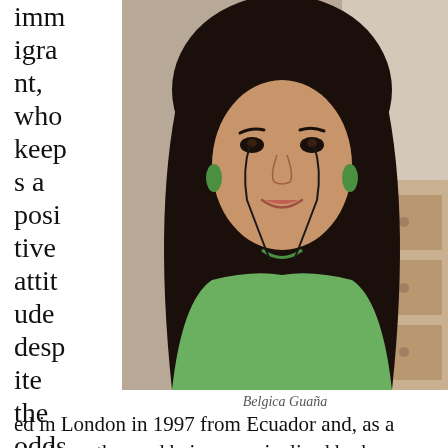immigrant, who keeps a positive attitude despite the odds,
arrived in London in 1997 from Ecuador and, as a single mother and being marginalised by her own community for this, she
[Figure (photo): Portrait photo of Belgica Guaña, a woman with long dark hair wearing a green top and green earrings, smiling, taken indoors with a chest of drawers visible in the background.]
Belgica Guaña
arrived in London in 1997 from Ecuador and, as a single mother and being marginalised by her own community for this, she